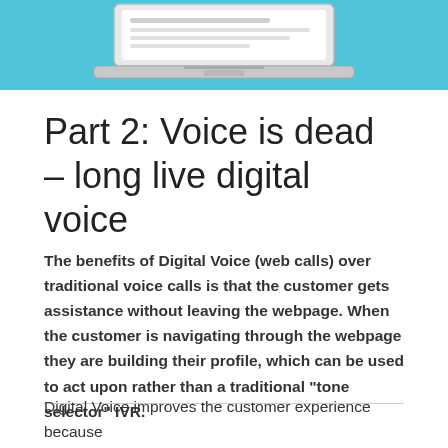[Figure (illustration): Laptop/device illustration on a light blue background, showing the top portion of a laptop screen]
Part 2: Voice is dead – long live digital voice
The benefits of Digital Voice (web calls) over traditional voice calls is that the customer gets assistance without leaving the webpage. When the customer is navigating through the webpage they are building their profile, which can be used to act upon rather than a traditional “tone selector” IVR.
Digital Voice improves the customer experience because